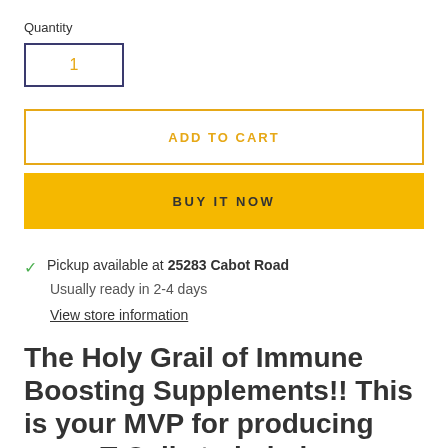Quantity
1
ADD TO CART
BUY IT NOW
Pickup available at 25283 Cabot Road
Usually ready in 2-4 days
View store information
The Holy Grail of Immune Boosting Supplements!! This is your MVP for producing more T-Cells to help keep